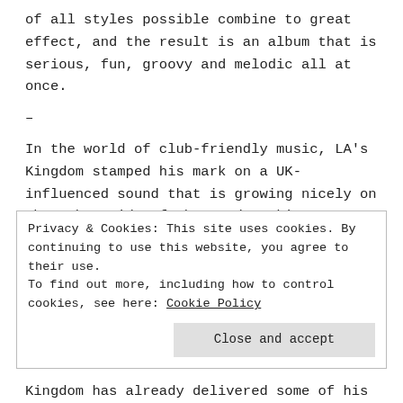of all styles possible combine to great effect, and the result is an album that is serious, fun, groovy and melodic all at once.
–
In the world of club-friendly music, LA's Kingdom stamped his mark on a UK-influenced sound that is growing nicely on the other side of the pond. Taking influences from UK funky and garage, and in particular the
Privacy & Cookies: This site uses cookies. By continuing to use this website, you agree to their use. To find out more, including how to control cookies, see here: Cookie Policy
Close and accept
Kingdom has already delivered some of his